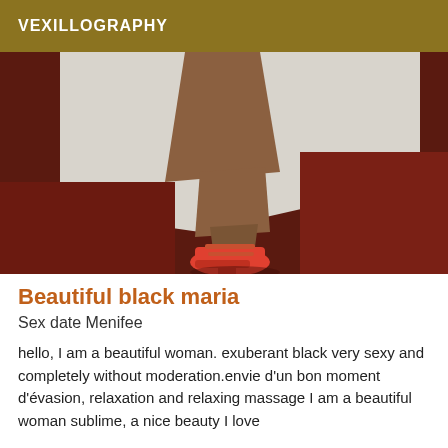VEXILLOGRAPHY
[Figure (photo): Photo of a person's legs wearing orange/red high heels, standing on a dark red carpet with a white background]
Beautiful black maria
Sex date Menifee
hello, I am a beautiful woman. exuberant black very sexy and completely without moderation.envie d'un bon moment d'évasion, relaxation and relaxing massage I am a beautiful woman sublime, a nice beauty I love